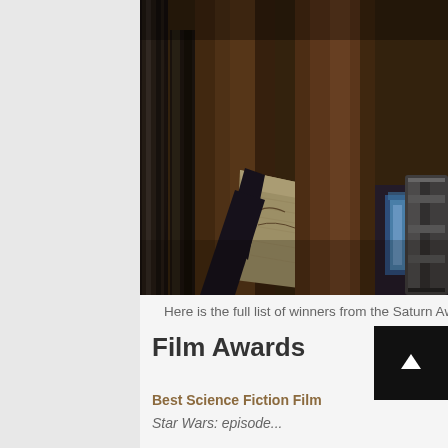[Figure (photo): A dark cinematic still showing a figure in dark clothing holding what appears to be a lightsaber or similar glowing weapon near wooden columns or pillars with cylindrical metal elements.]
Here is the full list of winners from the Saturn Awards,
Film Awards
Best Science Fiction Film
Star Wars: episode...